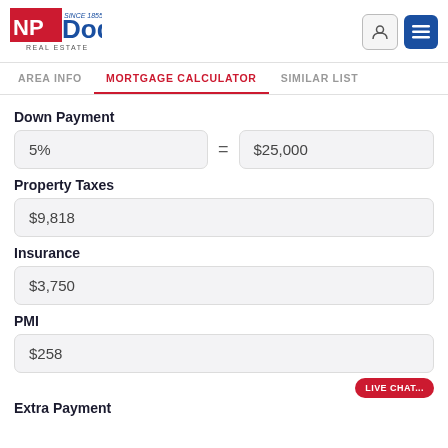NP Dodge Real Estate — Since 1855
AREA INFO | MORTGAGE CALCULATOR | SIMILAR LIST
Down Payment
5%  =  $25,000
Property Taxes
$9,818
Insurance
$3,750
PMI
$258
LIVE CHAT...
Extra Payment